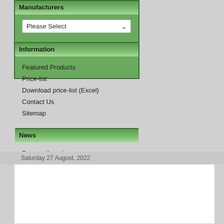Manufacturers
Please Select
Information
Featured Products
Price-list
Download price-list (Excel)
Contact Us
Sitemap
News
Prepare for release
Saturday 27 August, 2022